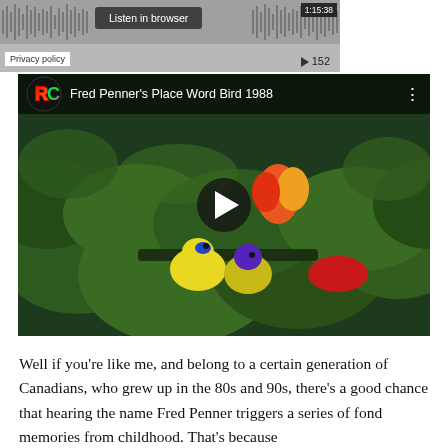[Figure (screenshot): Audio player widget with waveform, 'Listen in browser' button, time 1:15:38, play count 152, and Privacy policy button]
[Figure (screenshot): YouTube video embed showing 'Fred Penner's Place Word Bird 1988' with RC logo, colorful birds in jungle scene, and play button overlay]
Well if you're like me, and belong to a certain generation of Canadians, who grew up in the 80s and 90s, there's a good chance that hearing the name Fred Penner triggers a series of fond memories from childhood. That's because